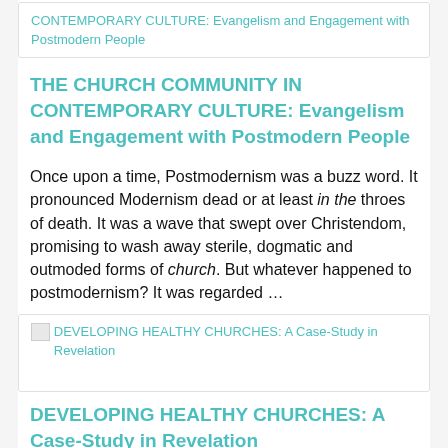CONTEMPORARY CULTURE: Evangelism and Engagement with Postmodern People
THE CHURCH COMMUNITY IN CONTEMPORARY CULTURE: Evangelism and Engagement with Postmodern People
Once upon a time, Postmodernism was a buzz word. It pronounced Modernism dead or at least in the throes of death. It was a wave that swept over Christendom, promising to wash away sterile, dogmatic and outmoded forms of church. But whatever happened to postmodernism? It was regarded …
[Figure (other): Card thumbnail for DEVELOPING HEALTHY CHURCHES: A Case-Study in Revelation]
DEVELOPING HEALTHY CHURCHES: A Case-Study in Revelation